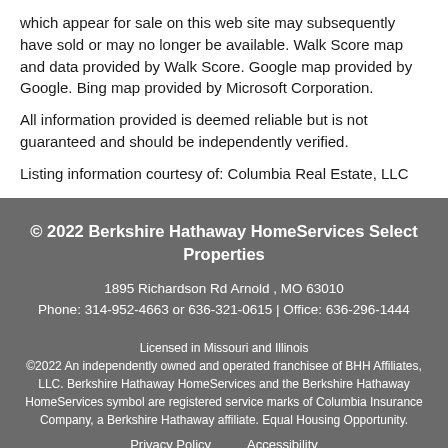which appear for sale on this web site may subsequently have sold or may no longer be available. Walk Score map and data provided by Walk Score. Google map provided by Google. Bing map provided by Microsoft Corporation.
All information provided is deemed reliable but is not guaranteed and should be independently verified.
Listing information courtesy of: Columbia Real Estate, LLC
© 2022 Berkshire Hathaway HomeServices Select Properties
1895 Richardson Rd Arnold , MO 63010
Phone: 314-952-4663 or 636-321-0615 | Office: 636-296-1444
Licensed in Missouri and Illinois
©2022 An independently owned and operated franchisee of BHH Affiliates, LLC. Berkshire Hathaway HomeServices and the Berkshire Hathaway HomeServices symbol are registered service marks of Columbia Insurance Company, a Berkshire Hathaway affiliate. Equal Housing Opportunity.
Privacy Policy    Accessibility
Website Powered by Real Estate Web Solutions
© 2022 Real Estate Web Solutions, LLC. All rights reserved. realOMS Login